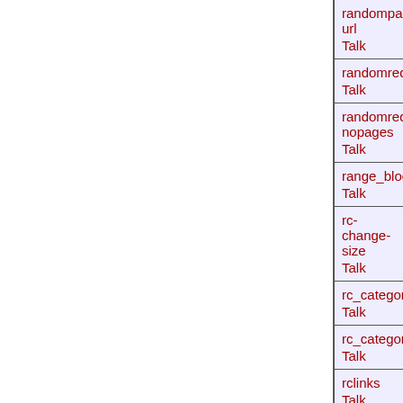| randompage-url | Talk |
| randomredirect | Talk |
| randomredirect-nopages | Talk |
| range_block_disabled | Talk |
| rc-change-size | Talk |
| rc_categories | Talk |
| rc_categories_any | Talk |
| rclinks | Talk |
| rclistfrom | Talk |
| rclsub | Talk |
| rcnote |  |